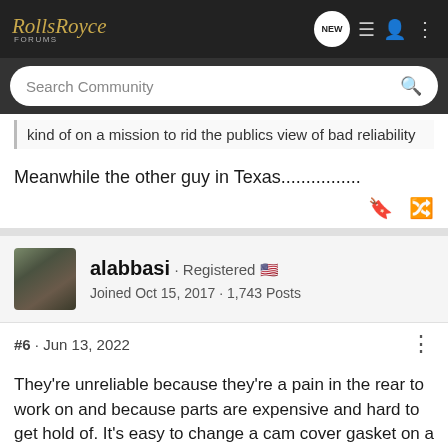Rolls Royce FORUMS — navigation bar with NEW, list, user, and menu icons
Search Community
kind of on a mission to rid the publics view of bad reliability
Meanwhile the other guy in Texas................
alabbasi · Registered 🇺🇸
Joined Oct 15, 2017 · 1,743 Posts
#6 · Jun 13, 2022
They're unreliable because they're a pain in the rear to work on and because parts are expensive and hard to get hold of. It's easy to change a cam cover gasket on a Mercedes Benz E63GEL which you can get pretty much on the same day in any...